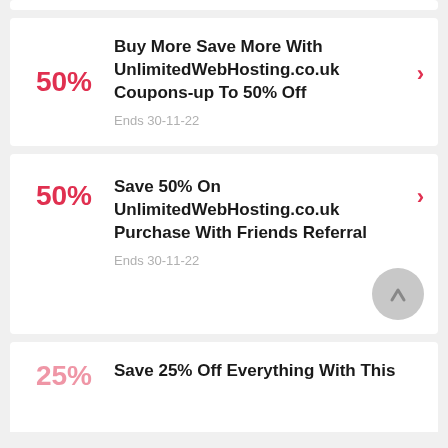50% — Buy More Save More With UnlimitedWebHosting.co.uk Coupons-up To 50% Off — Ends 30-11-22
50% — Save 50% On UnlimitedWebHosting.co.uk Purchase With Friends Referral — Ends 30-11-22
25% — Save 25% Off Everything With This